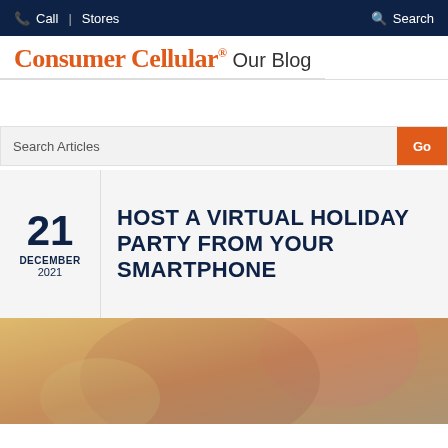Call | Stores    Search
Consumer Cellular® Our Blog
Search Articles Go
21 DECEMBER 2021 HOST A VIRTUAL HOLIDAY PARTY FROM YOUR SMARTPHONE
[Figure (photo): Older couple smiling and looking at a smartphone together]